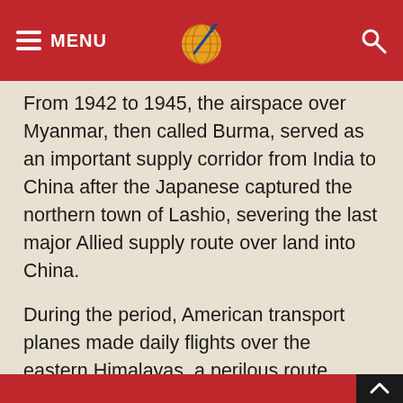MENU [logo] [search]
From 1942 to 1945, the airspace over Myanmar, then called Burma, served as an important supply corridor from India to China after the Japanese captured the northern town of Lashio, severing the last major Allied supply route over land into China.
During the period, American transport planes made daily flights over the eastern Himalayas, a perilous route called the Hump, according to the website of the U.S. Embassy in China.
The remains are believed to be from a B-25G aircraft with seven crew members onboard that crashed in February 1944 in Myanmar's northwestern Sagain Region, U.S. officials said.
↑